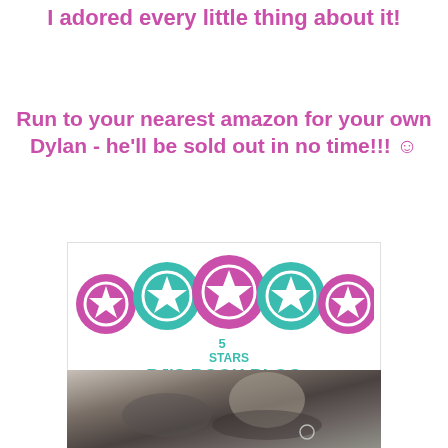I adored every little thing about it!
Run to your nearest amazon for your own Dylan - he'll be sold out in no time!!! ☺
[Figure (logo): 5-star rating badge from BJ's Book Blog. Five stars arranged in a row (alternating purple and teal circles with white stars), with '5 STARS' in teal text and 'BJ'S BOOK BLOG' in bold teal text below.]
[Figure (photo): Black and white photo of two people lying down, appearing to be a romantic couple or book cover imagery.]